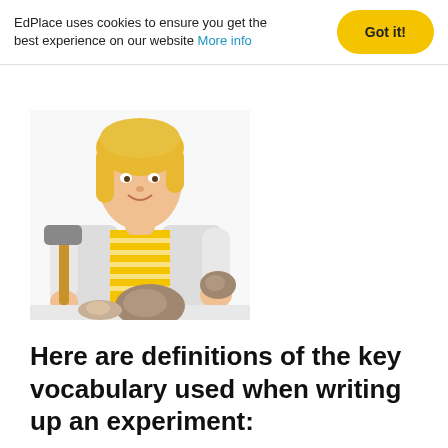EdPlace uses cookies to ensure you get the best experience on our website More info
[Figure (photo): A young blonde girl wearing a white lab coat and yellow striped shirt, holding a hammer in one hand and a rock in the other, with rocks on a white surface in front of her.]
Here are definitions of the key vocabulary used when writing up an experiment: